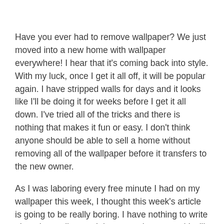Have you ever had to remove wallpaper? We just moved into a new home with wallpaper everywhere! I hear that it's coming back into style. With my luck, once I get it all off, it will be popular again. I have stripped walls for days and it looks like I'll be doing it for weeks before I get it all down. I've tried all of the tricks and there is nothing that makes it fun or easy. I don't think anyone should be able to sell a home without removing all of the wallpaper before it transfers to the new owner.
As I was laboring every free minute I had on my wallpaper this week, I thought this week's article is going to be really boring. I have nothing to write about but wallpaper. It is consuming me and I will work until the job is done. I know this about myself. It's a flaw. But